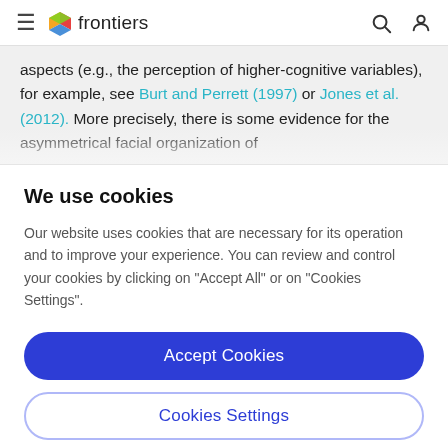frontiers
aspects (e.g., the perception of higher-cognitive variables), for example, see Burt and Perrett (1997) or Jones et al. (2012). More precisely, there is some evidence for the asymmetrical facial organization of the variables. For example, for emotion, the right...
We use cookies
Our website uses cookies that are necessary for its operation and to improve your experience. You can review and control your cookies by clicking on "Accept All" or on "Cookies Settings".
Accept Cookies
Cookies Settings